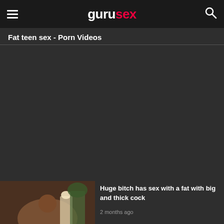gurusex
Fat teen sex - Porn Videos
[Figure (photo): Thumbnail image of a video showing a person on a couch with a lamp and plant in the background]
Huge bitch has sex with a fat with big and thick cock
2 months ago